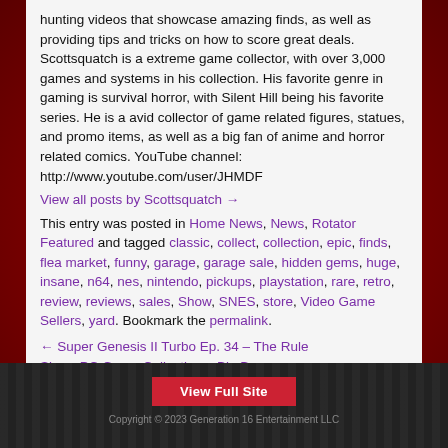hunting videos that showcase amazing finds, as well as providing tips and tricks on how to score great deals. Scottsquatch is a extreme game collector, with over 3,000 games and systems in his collection. His favorite genre in gaming is survival horror, with Silent Hill being his favorite series. He is a avid collector of game related figures, statues, and promo items, as well as a big fan of anime and horror related comics. YouTube channel: http://www.youtube.com/user/JHMDF
View all posts by Scottsquatch →
This entry was posted in Home News, News, Rotator Featured and tagged classic, collect, collection, epic, finds, flea market, funny, garage, garage sale, hidden gems, huge, insane, n64, nes, nintendo, pickups, playstation, rare, retro, review, reviews, sales, Show, SNES, store, Video Game Sellers, yard. Bookmark the permalink.
← Super Genesis II Turbo Ep. 34 – The Rule Sierra PC Game Collection – Big Boxes →
View Full Site
Copyright © 2023 Generation 16 Entertainment LLC